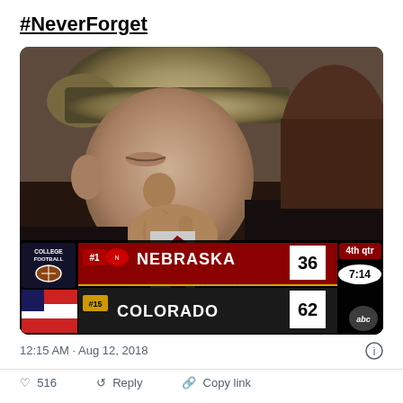#NeverForget
[Figure (photo): Screenshot of a tweet showing a man with grey hair in a dark suit and red tie, with his hand near his face appearing emotional or distressed. Overlaid at bottom is a college football scoreboard showing #1 Nebraska 36, #15 Colorado 62, 4th quarter, 7:14 remaining, on ABC.]
12:15 AM · Aug 12, 2018
♡  516     Reply     Copy link